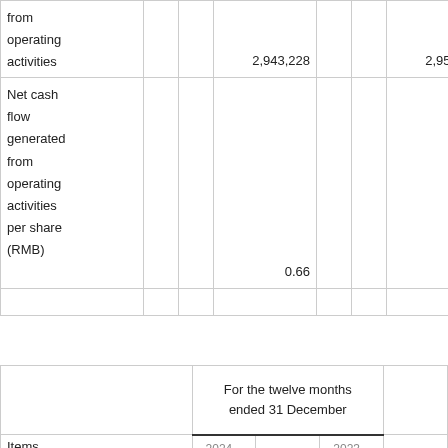|  |  |  |  |  |  |  |  |  |
| --- | --- | --- | --- | --- | --- | --- | --- | --- |
| from
operating
activities |  |  | 2,943,228 |  |  | 2,956,836 |  | (0... |
| Net cash
flow
generated
from
operating
activities
per share
(RMB) |  |  | 0.66 |  |  | 0.67 |  | (0... |
|  |  |  |  |  |  |  |  |  |
|  |  | For the twelve months ended 31 December |  |  |
| --- | --- | --- | --- | --- |
| Items |  | 2024 |  | 2023 |